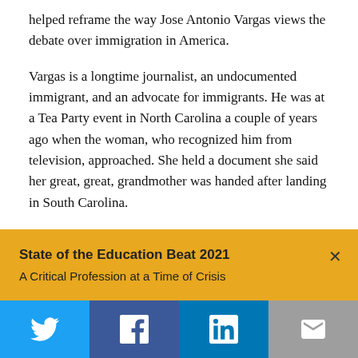helped reframe the way Jose Antonio Vargas views the debate over immigration in America.
Vargas is a longtime journalist, an undocumented immigrant, and an advocate for immigrants. He was at a Tea Party event in North Carolina a couple of years ago when the woman, who recognized him from television, approached. She held a document she said her great, great, grandmother was handed after landing in South Carolina.
It was a bill of sale.
READ MORE »
State of the Education Beat 2021
A Critical Profession at a Time of Crisis